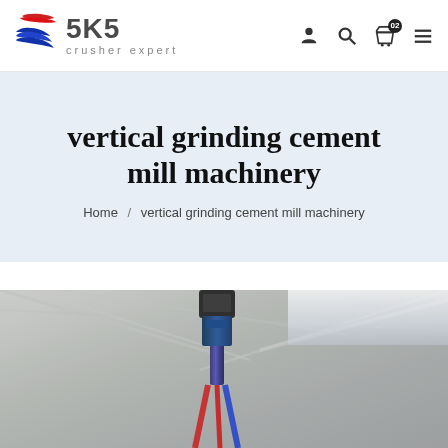SKS crusher expert
vertical grinding cement mill machinery
Home / vertical grinding cement mill machinery
[Figure (photo): Industrial equipment — crane or hoist machinery viewed from below inside a factory, with ceiling beams visible and red/blue cables hanging down.]